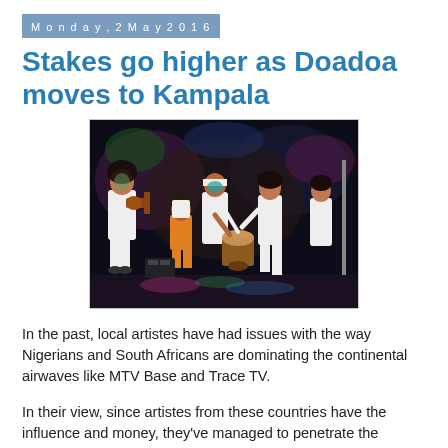Monday, 2 May 2016
Stakes go higher as Doadoa moves to Kampala
[Figure (photo): African musicians and performers on a dark stage, wearing white outfits; a guitarist on the left, a drummer in the center, and several other performers dancing and playing instruments under colorful stage lighting.]
In the past, local artistes have had issues with the way Nigerians and South Africans are dominating the continental airwaves like MTV Base and Trace TV.
In their view, since artistes from these countries have the influence and money, they've managed to penetrate the continental market because of the airtime given. And that's where Doadoa comes in.
Doadoa is an East African Performing Arts Market that